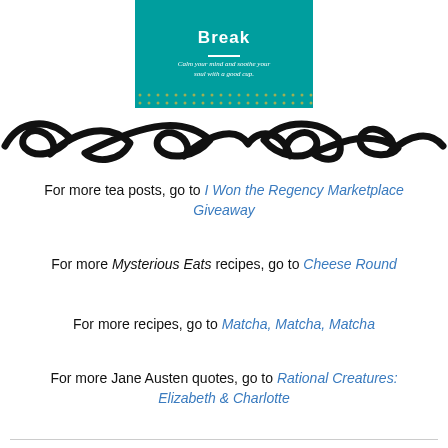[Figure (illustration): Teal/turquoise banner with bold white title 'Break', a white horizontal line, italic subtitle 'Calm your mind and soothe your soul with a good cup.' and a decorative dotted border at the bottom.]
[Figure (illustration): Decorative black scrollwork/flourish divider spanning the full width.]
For more tea posts, go to I Won the Regency Marketplace Giveaway
For more Mysterious Eats recipes, go to Cheese Round
For more recipes, go to Matcha, Matcha, Matcha
For more Jane Austen quotes, go to Rational Creatures: Elizabeth & Charlotte